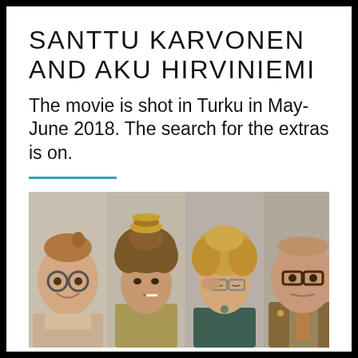SANTTU KARVONEN AND AKU HIRVINIEMI
The movie is shot in Turku in May-June 2018. The search for the extras is on.
[Figure (photo): Four people in comic/theatrical costumes and makeup posing against a white background: a chubby man with round glasses, a person with wild curly hair and something on top, a blonde curly-haired person with glasses touching their temple, and a heavyset man in a brown jacket with large glasses.]